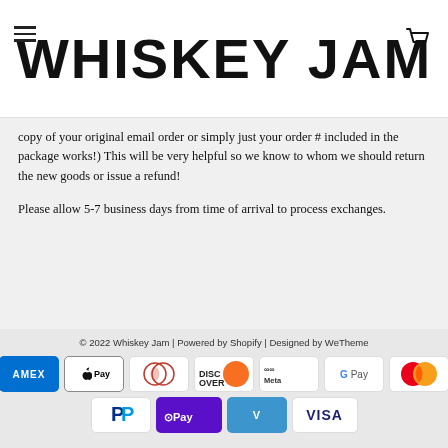WHISKEY JAM
copy of your original email order or simply just your order # included in the package works!) This will be very helpful so we know to whom we should return the new goods or issue a refund!
Please allow 5-7 business days from time of arrival to process exchanges.
© 2022 Whiskey Jam | Powered by Shopify | Designed by WeTheme
[Figure (other): Payment method icons: American Express, Apple Pay, Diners Club, Discover, Meta Pay, Google Pay, Mastercard, PayPal, O Pay, Venmo, Visa]